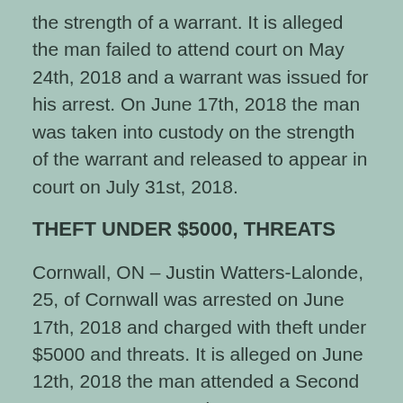the strength of a warrant. It is alleged the man failed to attend court on May 24th, 2018 and a warrant was issued for his arrest. On June 17th, 2018 the man was taken into custody on the strength of the warrant and released to appear in court on July 31st, 2018.
THEFT UNDER $5000, THREATS
Cornwall, ON – Justin Watters-Lalonde, 25, of Cornwall was arrested on June 17th, 2018 and charged with theft under $5000 and threats. It is alleged on June 12th, 2018 the man attended a Second Street East store and